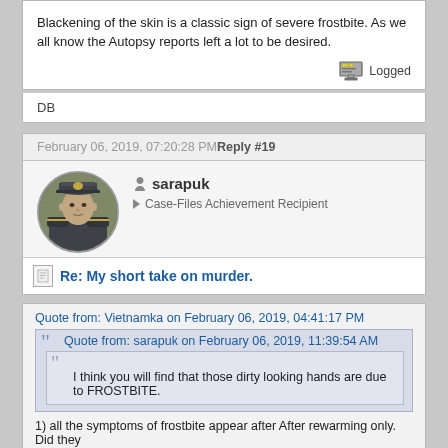Blackening of the skin is a classic sign of severe frostbite. As we all know the Autopsy reports left a lot to be desired.
Logged
DB
February 06, 2019, 07:20:28 PM Reply #19
[Figure (photo): Circular avatar photo of user sarapuk wearing a naval/captain uniform]
sarapuk
Case-Files Achievement Recipient
Re: My short take on murder.
Quote from: Vietnamka on February 06, 2019, 04:41:17 PM
Quote from: sarapuk on February 06, 2019, 11:39:54 AM
I think you will find that those dirty looking hands are due to FROSTBITE.
1) all the symptoms of frostbite appear after After rewarming only. Did they